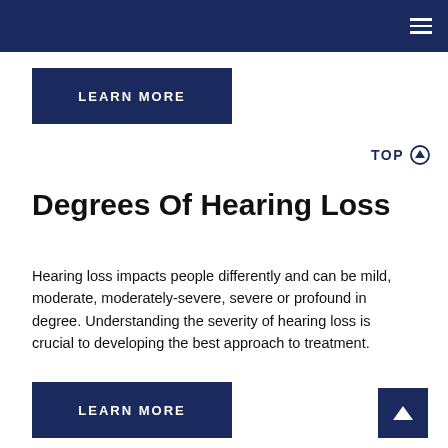LEARN MORE
TOP ↑
Degrees Of Hearing Loss
Hearing loss impacts people differently and can be mild, moderate, moderately-severe, severe or profound in degree. Understanding the severity of hearing loss is crucial to developing the best approach to treatment.
LEARN MORE